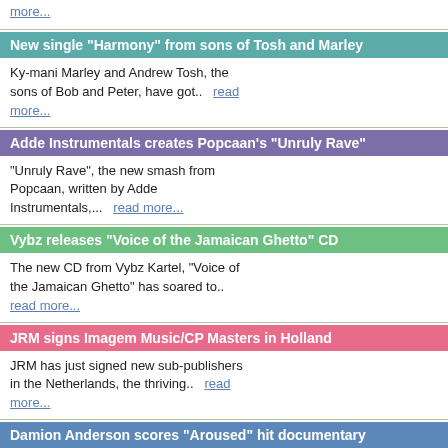more...
New single "Harmony" from sons of Tosh and Marley
Ky-mani Marley and Andrew Tosh, the sons of Bob and Peter, have got..   read more...
Adde Instrumentals creates Popcaan's "Unruly Rave"
"Unruly Rave", the new smash from Popcaan, written by Adde Instrumentals,...   read more...
Vybz releases "Voice of the Jamaican Ghetto" CD
The new CD from Vybz Kartel, "Voice of the Jamaican Ghetto" has soared to..  read more...
JRM signs Imagem Music/CP Masters in Holland
JRM has just signed new sub-publishers in the Netherlands, the thriving..  read more...
Damion Anderson scores "Aroused" hit documentary
Damion Anderson has scored the music